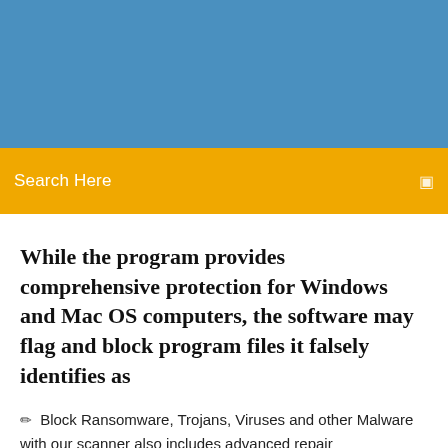[Figure (other): Blue header banner background area]
Search Here
While the program provides comprehensive protection for Windows and Mac OS computers, the software may flag and block program files it falsely identifies as
Block Ransomware, Trojans, Viruses and other Malware with our scanner also includes advanced repair functionalities, fixing over 90 million files last year. Identifies potentially unwanted applications hidden within legitimate software.